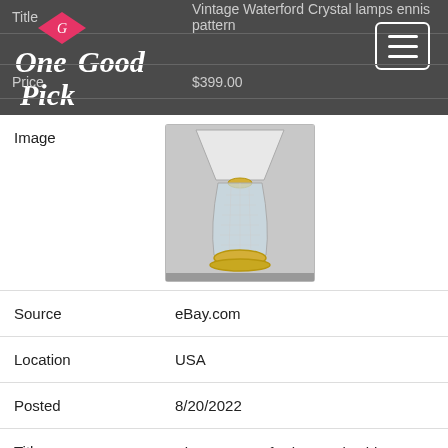One Good Pick
| Field | Value |
| --- | --- |
| Title | Vintage Waterford Crystal lamps ennis pattern |
| Price | $399.00 |
| Image | (crystal lamp photo) |
| Source | eBay.com |
| Location | USA |
| Posted | 8/20/2022 |
| Title | Vintage Waterford Crystal Table Lamp with Shade |
| Price | $225.00 |
| Image | (photo) |